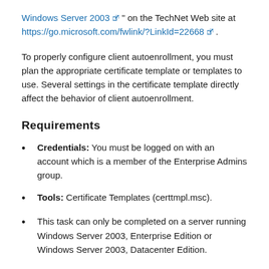Windows Server 2003 " on the TechNet Web site at https://go.microsoft.com/fwlink/?LinkId=22668 .
To properly configure client autoenrollment, you must plan the appropriate certificate template or templates to use. Several settings in the certificate template directly affect the behavior of client autoenrollment.
Requirements
Credentials: You must be logged on with an account which is a member of the Enterprise Admins group.
Tools: Certificate Templates (certtmpl.msc).
This task can only be completed on a server running Windows Server 2003, Enterprise Edition or Windows Server 2003, Datacenter Edition.